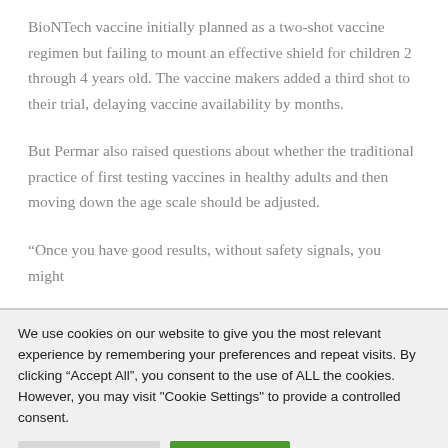BioNTech vaccine initially planned as a two-shot vaccine regimen but failing to mount an effective shield for children 2 through 4 years old. The vaccine makers added a third shot to their trial, delaying vaccine availability by months.
But Permar also raised questions about whether the traditional practice of first testing vaccines in healthy adults and then moving down the age scale should be adjusted.
“Once you have good results, without safety signals, you might
We use cookies on our website to give you the most relevant experience by remembering your preferences and repeat visits. By clicking “Accept All”, you consent to the use of ALL the cookies. However, you may visit "Cookie Settings" to provide a controlled consent.